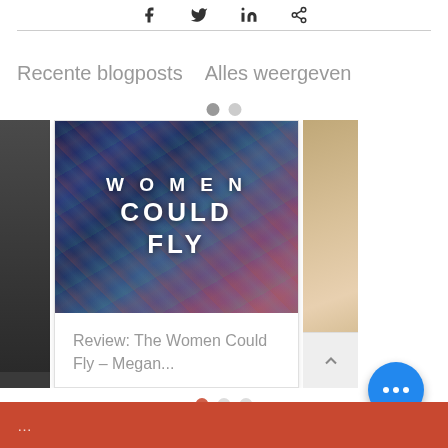[Figure (screenshot): Social media share icons row (Facebook, Twitter, LinkedIn, link) at top of page]
Recente blogposts   Alles weergeven
[Figure (screenshot): Blog post carousel showing partial left card, center card with 'Women Could Fly' book cover image and review title 'Review: The Women Could Fly – Megan...', and partial right card. Carousel navigation dots above and below. Scroll-to-top button at bottom right.]
[Figure (screenshot): Bottom coral/red banner with partial text visible at page bottom. Blue floating action button with three dots (ellipsis) in bottom right corner.]